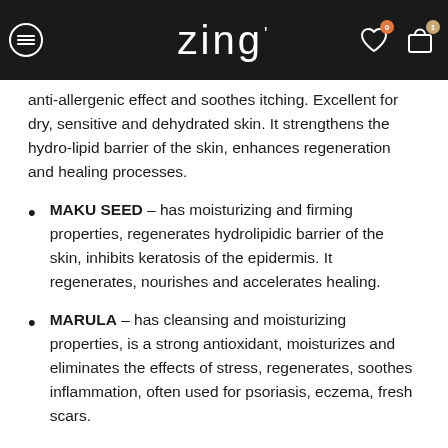zing
anti-allergenic effect and soothes itching. Excellent for dry, sensitive and dehydrated skin. It strengthens the hydro-lipid barrier of the skin, enhances regeneration and healing processes.
MAKU SEED – has moisturizing and firming properties, regenerates hydrolipidic barrier of the skin, inhibits keratosis of the epidermis. It regenerates, nourishes and accelerates healing.
MARULA – has cleansing and moisturizing properties, is a strong antioxidant, moisturizes and eliminates the effects of stress, regenerates, soothes inflammation, often used for psoriasis, eczema, fresh scars.